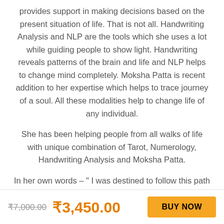provides support in making decisions based on the present situation of life. That is not all. Handwriting Analysis and NLP are the tools which she uses a lot while guiding people to show light. Handwriting reveals patterns of the brain and life and NLP helps to change mind completely. Moksha Patta is recent addition to her expertise which helps to trace journey of a soul. All these modalities help to change life of any individual.
She has been helping people from all walks of life with unique combination of Tarot, Numerology, Handwriting Analysis and Moksha Patta.
In her own words – " I was destined to follow this path
₹7,000.00  ₹3,450.00  BUY NOW